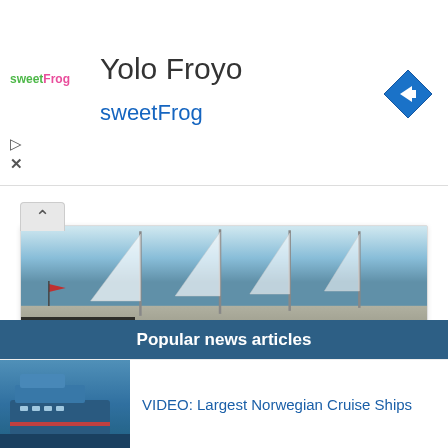[Figure (screenshot): Advertisement banner for Yolo Froyo / sweetFrog with logo, title text, and navigation arrow icon]
Yolo Froyo
sweetFrog
[Figure (photo): Photo of sailing ships/tall ships masts against a sky background]
June 5, 2017
Star Clippers Adds New Mediterranean Ports to 2018-2019 Itineraries
Star Clippers announced its 2018-2019 itineraries along with various savings opportunities for cruisers. Passengers who reserve any of the new...
Popular news articles
[Figure (photo): Thumbnail photo of large Norwegian cruise ship]
VIDEO: Largest Norwegian Cruise Ships